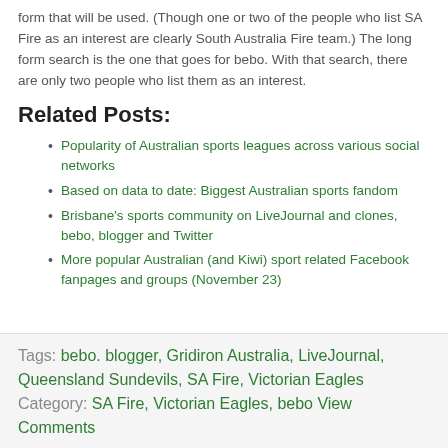form that will be used.  (Though one or two of the people who list SA Fire as an interest are clearly South Australia Fire team.)  The long form search is the one that goes for bebo.  With that search, there are only two people who list them as an interest.
Related Posts:
Popularity of Australian sports leagues across various social networks
Based on data to date: Biggest Australian sports fandom
Brisbane's sports community on LiveJournal and clones, bebo, blogger and Twitter
More popular Australian (and Kiwi) sport related Facebook fanpages and groups (November 23)
Tags: bebo. blogger, Gridiron Australia, LiveJournal, Queensland Sundevils, SA Fire, Victorian Eagles Category: SA Fire, Victorian Eagles, bebo View Comments